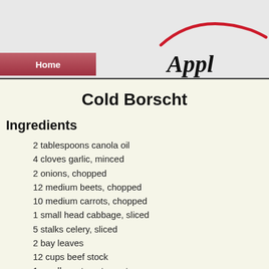[Figure (logo): Partial website header with a red swoosh curve and partial 'Appl...' logo text in handwritten style, plus a pink/red 'Home' navigation button]
Cold Borscht
Ingredients
2 tablespoons canola oil
4 cloves garlic, minced
2 onions, chopped
12 medium beets, chopped
10 medium carrots, chopped
1 small head cabbage, sliced
5 stalks celery, sliced
2 bay leaves
12 cups beef stock
1 small can tomato paste
1/4 cup parsley, chopped
1/2 cup fresh dill, chopped
1 teaspoon celery seed
2 teaspoons sugar